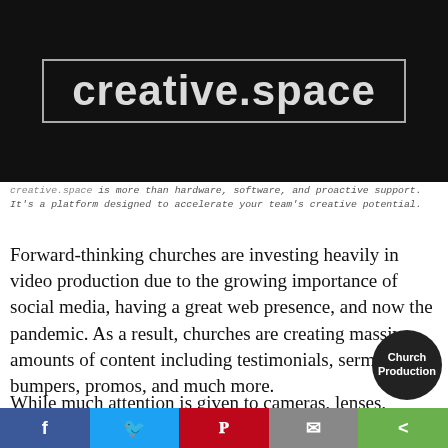[Figure (screenshot): Dark hero image with 'creative.space' text in a bordered box on black background]
creative.space is more than hardware, software, and proactive support. It's a platform designed to accelerate your team's creative potential.
Forward-thinking churches are investing heavily in video production due to the growing importance of social media, having a great web presence, and now the pandemic. As a result, churches are creating massive amounts of content including testimonials, sermon bumpers, promos, and much more.
While much attention is given to cameras, lenses, lighting and editing platforms, decisions on
[Figure (logo): Church Production circular badge/logo in dark background with white text]
Social sharing bar with Facebook, Twitter, Pinterest, Email, and Share buttons